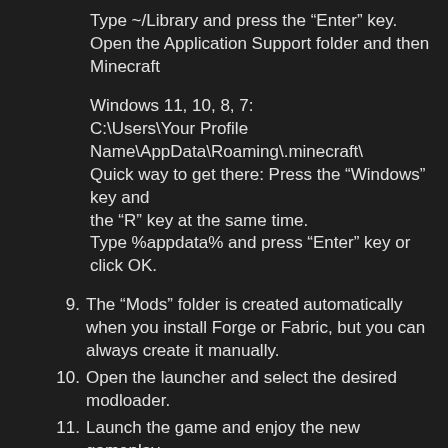Type ~/Library and press the "Enter" key.
Open the Application Support folder and then Minecraft
Windows 11, 10, 8, 7:
C:\Users\Your Profile Name\AppData\Roaming\.minecraft\
Quick way to get there: Press the "Windows" key and the "R" key at the same time.
Type %appdata% and press "Enter" key or click OK.
9. The "Mods" folder is created automatically when you install Forge or Fabric, but you can always create it manually.
10. Open the launcher and select the desired modloader.
11. Launch the game and enjoy the new gameplay.
12. Ready!
Created by: White_Draco